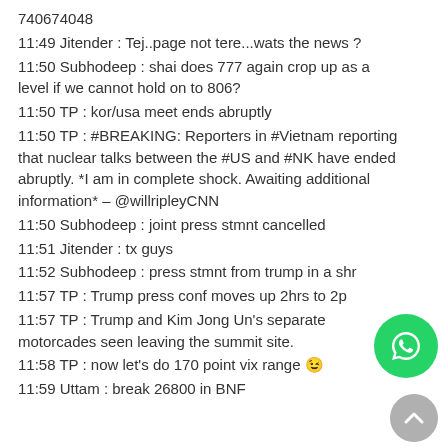740674048
11:49 Jitender : Tej..page not tere...wats the news ?
11:50 Subhodeep : shai does 777 again crop up as a level if we cannot hold on to 806?
11:50 TP : kor/usa meet ends abruptly
11:50 TP : #BREAKING: Reporters in #Vietnam reporting that nuclear talks between the #US and #NK have ended abruptly. *I am in complete shock. Awaiting additional information* – @willripleyCNN
11:50 Subhodeep : joint press stmnt cancelled
11:51 Jitender : tx guys
11:52 Subhodeep : press stmnt from trump in a shr
11:57 TP : Trump press conf moves up 2hrs to 2p
11:57 TP : Trump and Kim Jong Un's separate motorcades seen leaving the summit site.
11:58 TP : now let's do 170 point vix range 😉
11:59 Uttam : break 26800 in BNF
[Figure (logo): WhatsApp green circular button with phone icon]
[Figure (other): Grey scroll-to-top circular button with up arrow]